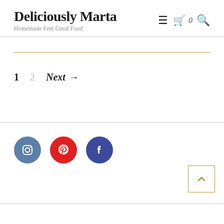Deliciously Marta
Homemade Feel Good Food
1  2  Next →
[Figure (illustration): Social media icons: Instagram (blue circle), Pinterest (red circle), Facebook (dark blue circle)]
Back to top button (chevron up, gold border)